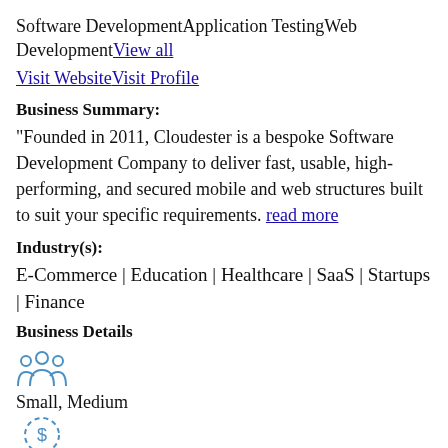Software DevelopmentApplication TestingWeb DevelopmentView all
Visit WebsiteVisit Profile
Business Summary:
"Founded in 2011, Cloudester is a bespoke Software Development Company to deliver fast, usable, high-performing, and secured mobile and web structures built to suit your specific requirements. read more
Industry(s):
E-Commerce | Education | Healthcare | SaaS | Startups | Finance
Business Details
[Figure (illustration): People/team icon with three figures]
Small, Medium
[Figure (illustration): Dollar sign in a dashed circle icon]
$10,000 or more
[Figure (illustration): Orange circular icon at bottom]